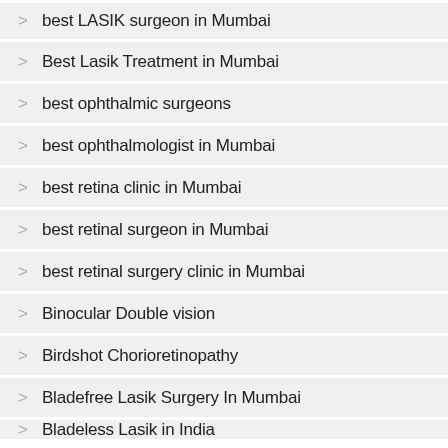best LASIK surgeon in Mumbai
Best Lasik Treatment in Mumbai
best ophthalmic surgeons
best ophthalmologist in Mumbai
best retina clinic in Mumbai
best retinal surgeon in Mumbai
best retinal surgery clinic in Mumbai
Binocular Double vision
Birdshot Chorioretinopathy
Bladefree Lasik Surgery In Mumbai
Bladeless Lasik in India